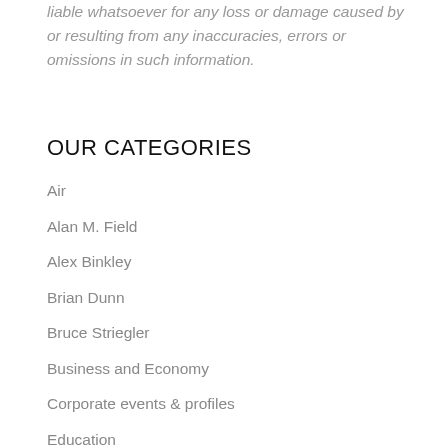liable whatsoever for any loss or damage caused by or resulting from any inaccuracies, errors or omissions in such information.
OUR CATEGORIES
Air
Alan M. Field
Alex Binkley
Brian Dunn
Bruce Striegler
Business and Economy
Corporate events & profiles
Education
Environment
Front Page Post